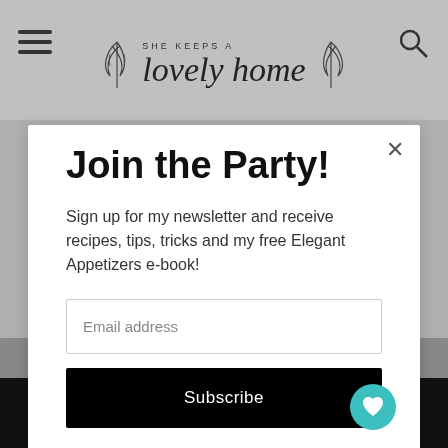SHE KEEPS A lovely home
Join the Party!
Sign up for my newsletter and receive recipes, tips, tricks and my free Elegant Appetizers e-book!
Email address
Subscribe
4.3K